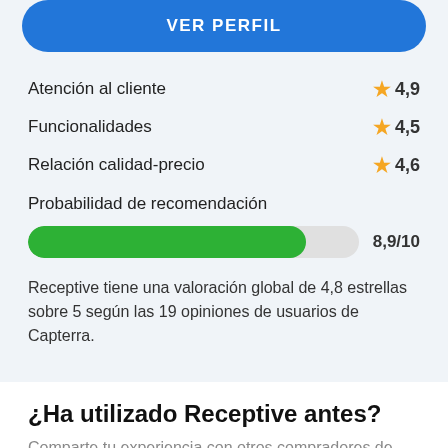VER PERFIL
Atención al cliente  ★ 4,9
Funcionalidades  ★ 4,5
Relación calidad-precio  ★ 4,6
Probabilidad de recomendación
[Figure (bar-chart): Probabilidad de recomendación]
Receptive tiene una valoración global de 4,8 estrellas sobre 5 según las 19 opiniones de usuarios de Capterra.
¿Ha utilizado Receptive antes?
Comparte tu experiencia con otros compradores de